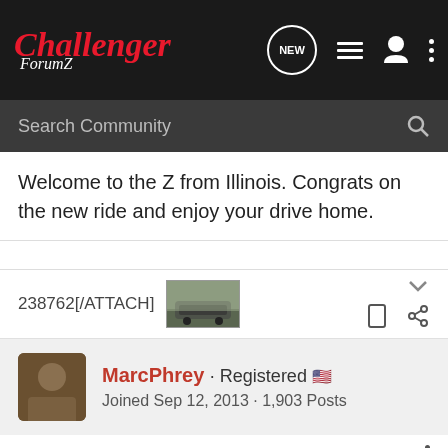Challenger ForumZ — NEW (notification) | list icon | user icon | more icon
Search Community
Welcome to the Z from Illinois. Congrats on the new ride and enjoy your drive home.
238762[/ATTACH]
[Figure (photo): Small thumbnail of a car parked outside a building]
MarcPhrey · Registered 🇺🇸
Joined Sep 12, 2013 · 1,903 Posts
#14 · Mar 27, 2014